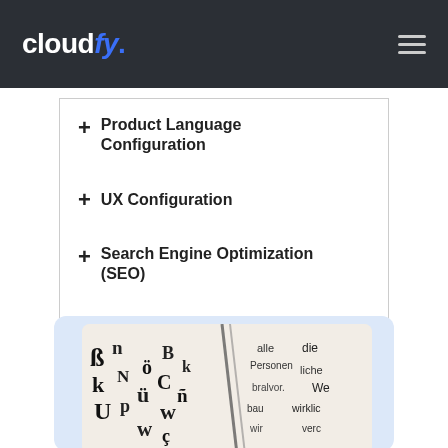cloudfy.
+ Product Language Configuration
+ UX Configuration
+ Search Engine Optimization (SEO)
+ Transliteration Tools
[Figure (photo): Close-up photo of printed text/typography in multiple languages on paper, with diagonal dark lines/spine visible, suggesting a multilingual dictionary or book. German words visible on the right side: alle, die, Personen, liche, We, bralvor, wirklich, bau, verc, wir.]